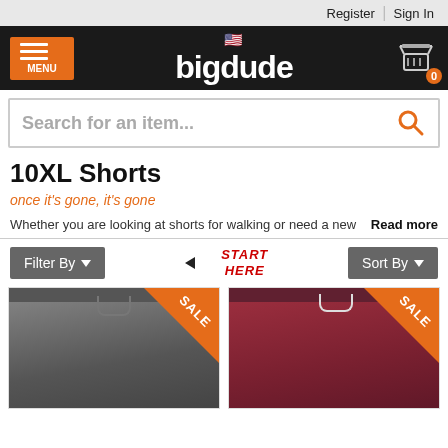Register | Sign In
[Figure (logo): bigdude logo with US flag and shopping cart]
Search for an item...
10XL Shorts
once it's gone, it's gone
Whether you are looking at shorts for walking or need a new   Read more
Filter By   START HERE   Sort By
[Figure (photo): Gray drawstring shorts with orange SALE badge in top right corner]
[Figure (photo): Dark red/maroon drawstring shorts with orange SALE badge in top right corner]